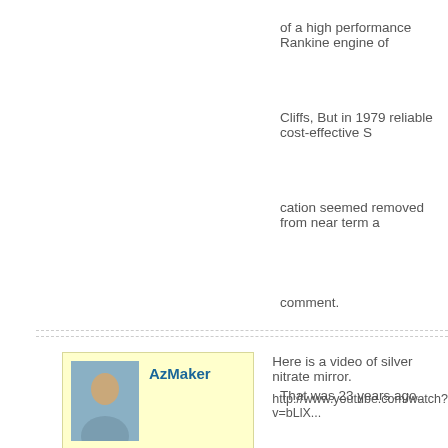of a high performance Rankine engine of
Cliffs, But in 1979 reliable cost-effective S
cation seemed removed from near term a
comment.
That was 23 years ago.
These engines have now been develope packages of reasonable power back the PC can be used to design an excellent e
[Figure (photo): User avatar photo of AzMaker with yellow background card]
Here is a video of silver nitrate mirror.
http://www.youtube.com/watch?v=bLlX...